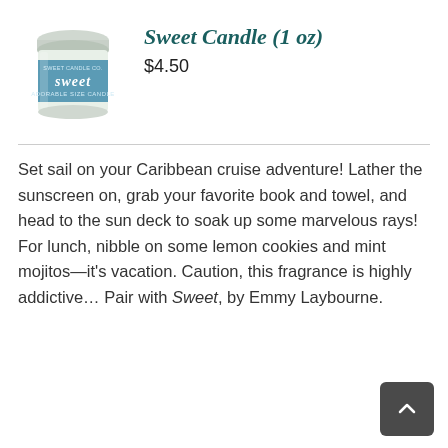[Figure (illustration): Product photo of a small candle jar with blue label reading 'sweet ADORABLE SIZE CANDLE']
Sweet Candle (1 oz)
$4.50
Set sail on your Caribbean cruise adventure! Lather the sunscreen on, grab your favorite book and towel, and head to the sun deck to soak up some marvelous rays! For lunch, nibble on some lemon cookies and mint mojitos—it's vacation. Caution, this fragrance is highly addictive… Pair with Sweet, by Emmy Laybourne.